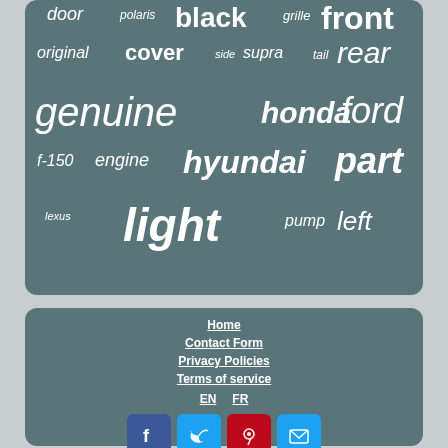[Figure (infographic): Word cloud of automotive parts-related keywords on a dark teal/slate background. Words include: genuine, ford, honda, hyundai, part, light, front, rear, door, black, cover, engine, left, pump, original, side, supra, tail, grille, polaris, f-150, lexus]
Home
Contact Form
Privacy Policies
Terms of service
EN  FR
[Figure (infographic): Social media icon buttons: Facebook (blue), Twitter (blue), Pinterest (red), Email (blue)]